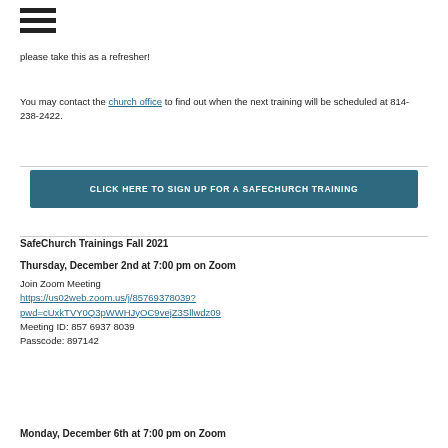[Figure (other): Hamburger menu icon (three horizontal bars)]
please take this as a refresher!
You may contact the church office to find out when the next training will be scheduled at 814-238-2422.
CLICK HERE TO SIGN UP FOR A SAFECHURCH TRAINING
SafeChurch Trainings Fall 2021
Thursday, December 2nd at 7:00 pm on Zoom
Join Zoom Meeting
https://us02web.zoom.us/j/85769378039?pwd=cUxkTVY0Q3pWWHJyOC9vejZ3Sllwdz09
Meeting ID: 857 6937 8039
Passcode: 897142
Monday, December 6th at 7:00 pm on Zoom